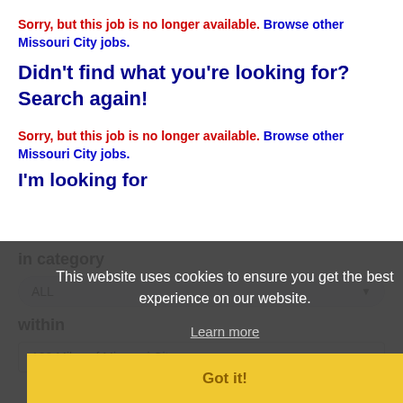Sorry, but this job is no longer available. Browse other Missouri City jobs.
Didn't find what you're looking for? Search again!
Sorry, but this job is no longer available. Browse other Missouri City jobs.
I'm looking for
in category
ALL
within
100 Miles of Missouri City
This website uses cookies to ensure you get the best experience on our website.
Learn more
Got it!